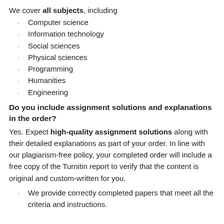We cover all subjects, including
Computer science
Information technology
Social sciences
Physical sciences
Programming
Humanities
Engineering
Do you include assignment solutions and explanations in the order?
Yes. Expect high-quality assignment solutions along with their detailed explanations as part of your order. In line with our plagiarism-free policy, your completed order will include a free copy of the Turnitin report to verify that the content is original and custom-written for you.
We provide correctly completed papers that meet all the criteria and instructions.